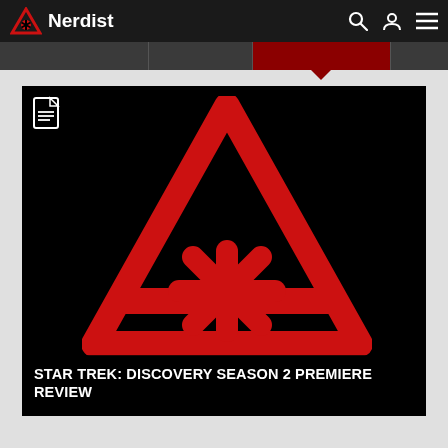Nerdist
[Figure (screenshot): Nerdist website screenshot showing a large black hero image with the Nerdist logo (red triangle with asterisk) centered, overlaid with the text 'STAR TREK: DISCOVERY SEASON 2 PREMIERE REVIEW' in white bold uppercase letters at the bottom.]
STAR TREK: DISCOVERY SEASON 2 PREMIERE REVIEW